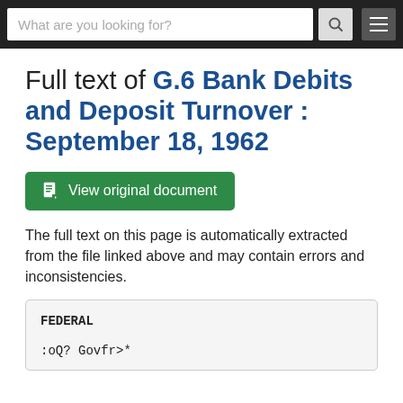What are you looking for?
Full text of G.6 Bank Debits and Deposit Turnover : September 18, 1962
[Figure (other): Green button: View original document]
The full text on this page is automatically extracted from the file linked above and may contain errors and inconsistencies.
FEDERAL

:oQ? Govfr>*